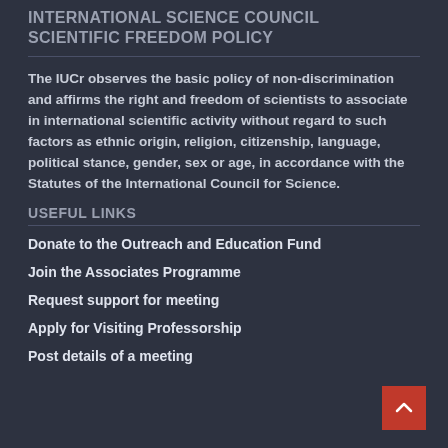INTERNATIONAL SCIENCE COUNCIL SCIENTIFIC FREEDOM POLICY
The IUCr observes the basic policy of non-discrimination and affirms the right and freedom of scientists to associate in international scientific activity without regard to such factors as ethnic origin, religion, citizenship, language, political stance, gender, sex or age, in accordance with the Statutes of the International Council for Science.
USEFUL LINKS
Donate to the Outreach and Education Fund
Join the Associates Programme
Request support for meeting
Apply for Visiting Professorship
Post details of a meeting